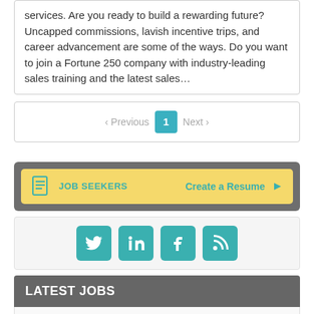services. Are you ready to build a rewarding future? Uncapped commissions, lavish incentive trips, and career advancement are some of the ways. Do you want to join a Fortune 250 company with industry-leading sales training and the latest sales...
< Previous  1  Next >
[Figure (infographic): Job Seekers banner with document icon, JOB SEEKERS label, and Create a Resume action link with arrow, all on a yellow background within a gray rounded box.]
[Figure (infographic): Social media icons: Twitter, LinkedIn, Facebook, RSS feed, all teal colored on a light gray background.]
LATEST JOBS